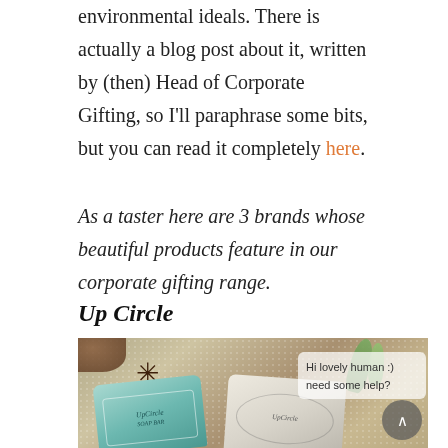environmental ideals. There is actually a blog post about it, written by (then) Head of Corporate Gifting, so I'll paraphrase some bits, but you can read it completely here.
As a taster here are 3 brands whose beautiful products feature in our corporate gifting range.
Up Circle
[Figure (photo): Flat lay photo of UpCircle soap bars on a stone surface with star anise, cardamom pods, cinnamon sticks and green vegetable pieces. Two soap bars visible — one with teal/mint packaging labeled 'UpCircle Soap Bar' and one white/grey bar with UpCircle branding. A chat bubble overlay reads 'Hi lovely human :) need some help?' and a scroll-to-top button is visible in the bottom right corner.]